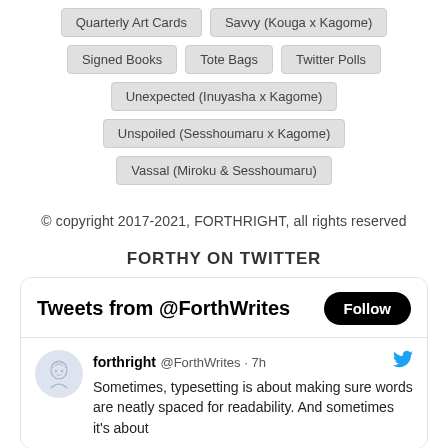Quarterly Art Cards
Savvy (Kouga x Kagome)
Signed Books
Tote Bags
Twitter Polls
Unexpected (Inuyasha x Kagome)
Unspoiled (Sesshoumaru x Kagome)
Vassal (Miroku & Sesshoumaru)
© copyright 2017-2021, FORTHRIGHT, all rights reserved
FORTHY ON TWITTER
Tweets from @ForthWrites
forthright @ForthWrites · 7h  Sometimes, typesetting is about making sure words are neatly spaced for readability. And sometimes it's about